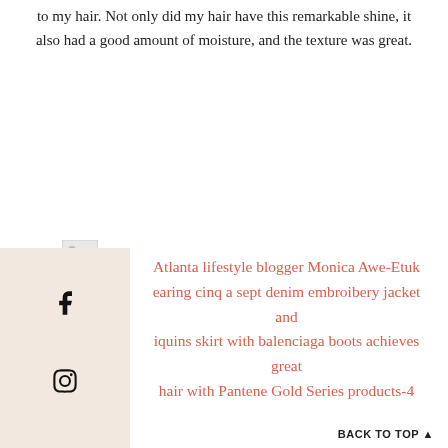to my hair. Not only did my hair have this remarkable shine, it also had a good amount of moisture, and the texture was great.
[Figure (photo): Small image thumbnail placeholder icon]
Atlanta lifestyle blogger Monica Awe-Etuk wearing cinq a sept denim embroibery jacket and sequins skirt with balenciaga boots achieves great hair with Pantene Gold Series products-4
BACK TO TOP ^